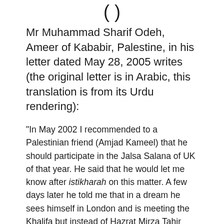( )
Mr Muhammad Sharif Odeh, Ameer of Kababir, Palestine, in his letter dated May 28, 2005 writes (the original letter is in Arabic, this translation is from its Urdu rendering):
“In May 2002 I recommended to a Palestinian friend (Amjad Kameel) that he should participate in the Jalsa Salana of UK of that year. He said that he would let me know after istikharah on this matter. A few days later he told me that in a dream he sees himself in London and is meeting the Khalifa but instead of Hazrat Mirza Tahir Ahmad Sahib, some other person  is the Khalifa.  He proceeded to describe him as having a short beard, and described his eyes etc. I told him that I did not want to know, but understood it to be an indication of the demise of Hazrat Khalifatul Masih IV(rh). Soon I forgot all